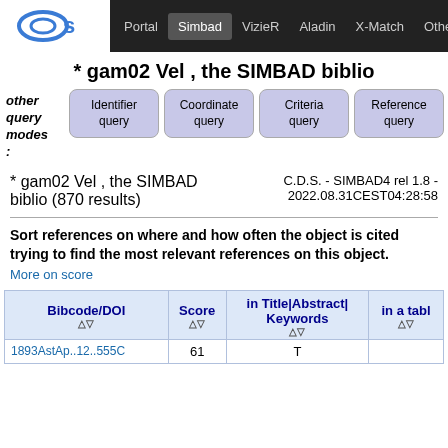Portal | Simbad | VizieR | Aladin | X-Match | Other
* gam02 Vel , the SIMBAD biblio
other query modes:
Identifier query | Coordinate query | Criteria query | Reference query | Basic query
* gam02 Vel , the SIMBAD biblio (870 results)
C.D.S. - SIMBAD4 rel 1.8 - 2022.08.31CEST04:28:58
Sort references on where and how often the object is cited trying to find the most relevant references on this object. More on score
| Bibcode/DOI | Score | in Title|Abstract|Keywords | in a tabl |
| --- | --- | --- | --- |
| 1893AstAp..12..555C | 61 | T |  |